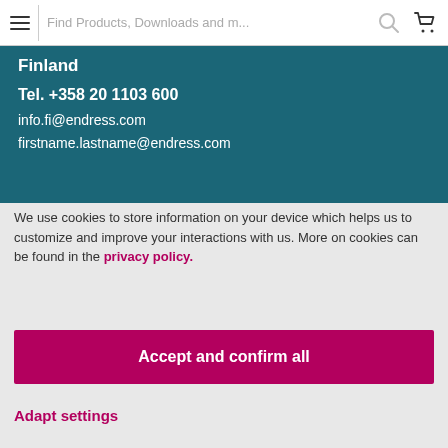Find Products, Downloads and m...
Finland
Tel. +358 20 1103 600
info.fi@endress.com
firstname.lastname@endress.com
We use cookies to store information on your device which helps us to customize and improve your interactions with us. More on cookies can be found in the privacy policy.
Accept and confirm all
Adapt settings